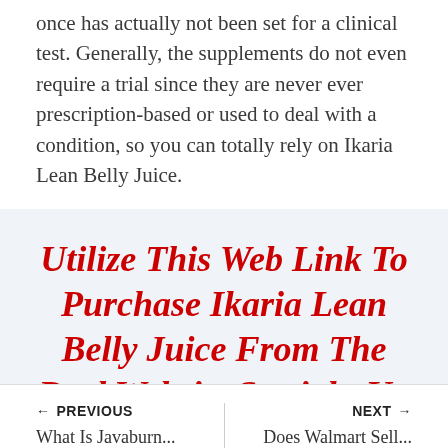once has actually not been set for a clinical test. Generally, the supplements do not even require a trial since they are never ever prescription-based or used to deal with a condition, so you can totally rely on Ikaria Lean Belly Juice.
Utilize This Web Link To Purchase Ikaria Lean Belly Juice From The Real Website Straight Up To 50% Off ->
← PREVIOUS | NEXT →
What Is Javaburn... | Does Walmart Sell...